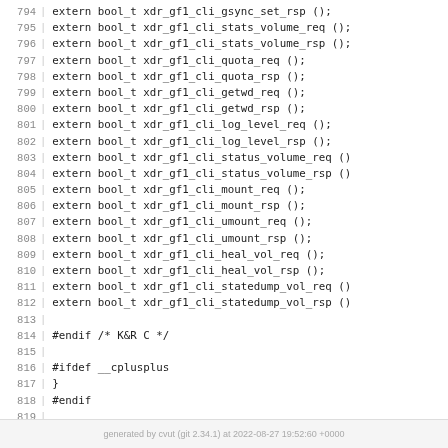[Figure (screenshot): Source code listing (C header file) with line numbers 794-820, showing extern bool_t function declarations and preprocessor directives (#endif, #ifdef __cplusplus, #endif, #endif /* !_CLI1_XDR_H_RPCGEN */)]
generated by cvut (git 2.34.1) at 2022-08-27 19:52:60 +0000